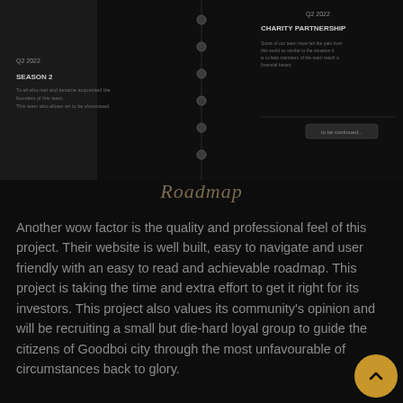[Figure (infographic): Roadmap timeline infographic showing project milestones. Dark background with timeline dots/circles in the center column. Left side shows 'Q2 2022' and 'SEASON 2' with descriptive text. Right side shows 'Q2 2022' and 'CHARITY PARTNERSHIP' with descriptive text and 'to be continued' button. Vertical line of dots connects the timeline.]
Roadmap
Another wow factor is the quality and professional feel of this project. Their website is well built, easy to navigate and user friendly with an easy to read and achievable roadmap. This project is taking the time and extra effort to get it right for its investors. This project also values its community's opinion and will be recruiting a small but die-hard loyal group to guide the citizens of Goodboi city through the most unfavourable of circumstances back to glory.